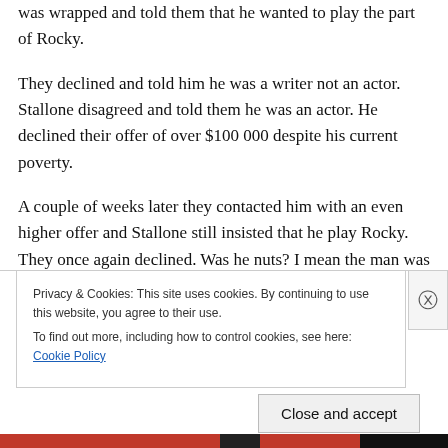was wrapped and told them that he wanted to play the part of Rocky.
They declined and told him he was a writer not an actor. Stallone disagreed and told them he was an actor. He declined their offer of over $100 000 despite his current poverty.
A couple of weeks later they contacted him with an even higher offer and Stallone still insisted that he play Rocky. They once again declined. Was he nuts? I mean the man was poor, he could barely even eat.
Privacy & Cookies: This site uses cookies. By continuing to use this website, you agree to their use.
To find out more, including how to control cookies, see here: Cookie Policy
Close and accept